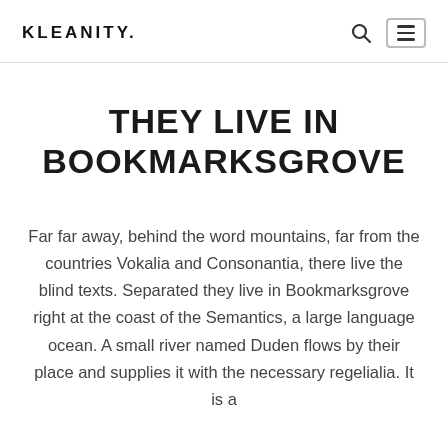KLEANITY.
THEY LIVE IN BOOKMARKSGROVE
Far far away, behind the word mountains, far from the countries Vokalia and Consonantia, there live the blind texts. Separated they live in Bookmarksgrove right at the coast of the Semantics, a large language ocean. A small river named Duden flows by their place and supplies it with the necessary regelialia. It is a